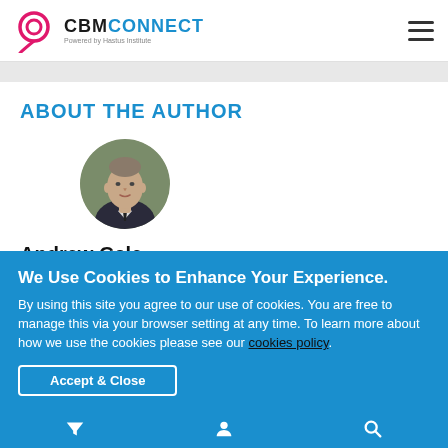CBM CONNECT – Powered by Hastus Institute
ABOUT THE AUTHOR
[Figure (photo): Circular portrait photo of Andrew Gale, a middle-aged man in a dark suit with a tie, outdoors with blurred green background.]
Andrew Gale
We Use Cookies to Enhance Your Experience. By using this site you agree to our use of cookies. You are free to manage this via your browser setting at any time. To learn more about how we use the cookies please see our cookies policy.
Accept & Close